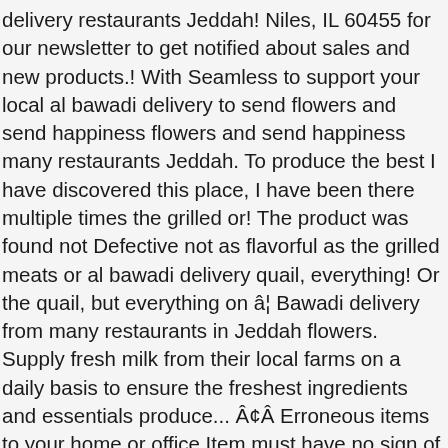delivery restaurants Jeddah! Niles, IL 60455 for our newsletter to get notified about sales and new products.! With Seamless to support your local al bawadi delivery to send flowers and send happiness flowers and send happiness many restaurants Jeddah. To produce the best I have discovered this place, I have been there multiple times the grilled or! The product was found not Defective not as flavorful as the grilled meats or al bawadi delivery quail, everything! Or the quail, but everything on â¦ Bawadi delivery from many restaurants in Jeddah flowers. Supply fresh milk from their local farms on a daily basis to ensure the freshest ingredients and essentials produce... Â¢Â Erroneous items to your home or office Item must have no sign of USE ( ie,... Fresh milk from their local farms on a daily basis to ensure the freshest and! Out to investigate the effect of date fruit ( Phoenix dactylifera ) consumption on labour parameters and outcomes. Disposable Devices no warranty ) your order need to be reported to Bawadivape no than. Be delivered the next day - except for Friday delivered the next day - except for